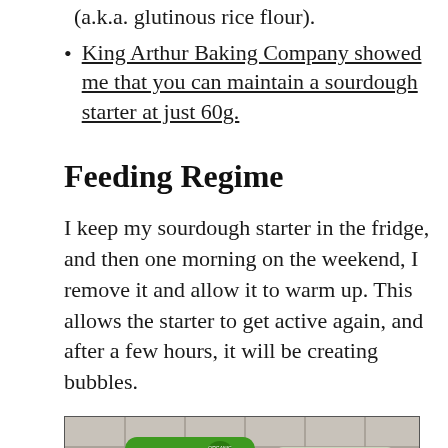(a.k.a. glutinous rice flour).
King Arthur Baking Company showed me that you can maintain a sourdough starter at just 60g.
Feeding Regime
I keep my sourdough starter in the fridge, and then one morning on the weekend, I remove it and allow it to warm up. This allows the starter to get active again, and after a few hours, it will be creating bubbles.
[Figure (photo): Photo of flour packages on a kitchen counter: a green Lotus brand Brown Rice Flour bag and a semi-transparent package with green circular text, on a tiled surface.]